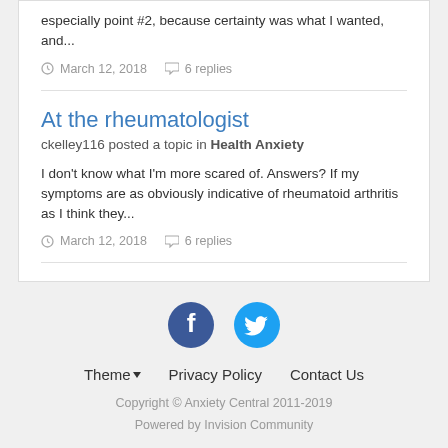especially point #2, because certainty was what I wanted, and…
March 12, 2018   6 replies
At the rheumatologist
ckelley116 posted a topic in Health Anxiety
I don't know what I'm more scared of. Answers? If my symptoms are as obviously indicative of rheumatoid arthritis as I think they…
March 12, 2018   6 replies
Theme  Privacy Policy  Contact Us
Copyright © Anxiety Central 2011-2019
Powered by Invision Community